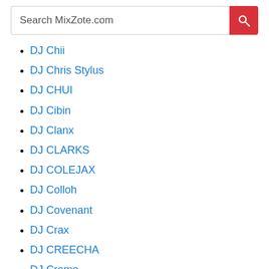Search MixZote.com
DJ Chii
DJ Chris Stylus
DJ CHUI
DJ Cibin
DJ Clanx
DJ CLARKS
DJ COLEJAX
DJ Colloh
DJ Covenant
DJ Crax
DJ CREECHA
DJ Creme
DJ Cross
DJ Cue